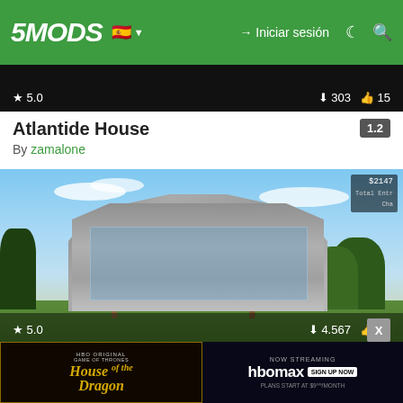5MODS | Iniciar sesión
[Figure (screenshot): Top portion of a dark game screenshot showing rating 5.0, download count 303, and likes 15]
Atlantide House
By zamalone
[Figure (screenshot): Screenshot from GTA V showing Vinewood Hill Mega Mansion - a modern multi-story building surrounded by trees and palm trees, with HUD overlay showing $2147, rating 5.0, downloads 4.567, likes 56]
Vinewood Hill Mega Mansion v1.1 [Ymap]
By zamalone
[Figure (screenshot): Advertisement banner for HBO Original House of the Dragon - Now Streaming on HBO Max, plans start at $9.99/month]